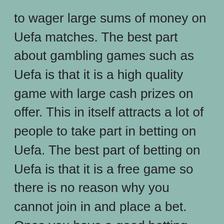to wager large sums of money on Uefa matches. The best part about gambling games such as Uefa is that it is a high quality game with large cash prizes on offer. This in itself attracts a lot of people to take part in betting on Uefa. The best part of betting on Uefa is that it is a free game so there is no reason why you cannot join in and place a bet. Once you have a good betting account under your belt then you can even go ahead and start earning money!
Most people look towards a free gambling website when they are looking for a good